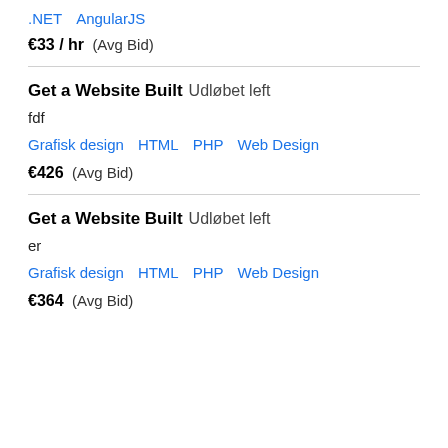.NET   AngularJS
€33 / hr  (Avg Bid)
Get a Website Built  Udløbet left
fdf
Grafisk design   HTML   PHP   Web Design
€426  (Avg Bid)
Get a Website Built  Udløbet left
er
Grafisk design   HTML   PHP   Web Design
€364  (Avg Bid)